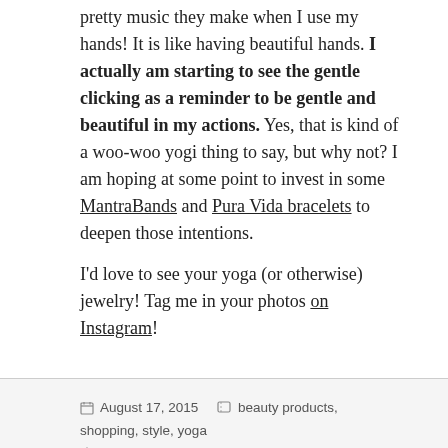pretty music they make when I use my hands! It is like having beautiful hands. I actually am starting to see the gentle clicking as a reminder to be gentle and beautiful in my actions. Yes, that is kind of a woo-woo yogi thing to say, but why not? I am hoping at some point to invest in some MantraBands and Pura Vida bracelets to deepen those intentions.
I'd love to see your yoga (or otherwise) jewelry! Tag me in your photos on Instagram!
August 17, 2015  beauty products, shopping, style, yoga  jewelry, jewelry style, mala necklace, mantraband bracelets, meditation necklace, pura vida bracelets, tattoo jewelry, yoga bracelets, yoga jewelry  6 Comments
Green For The Mainstream: